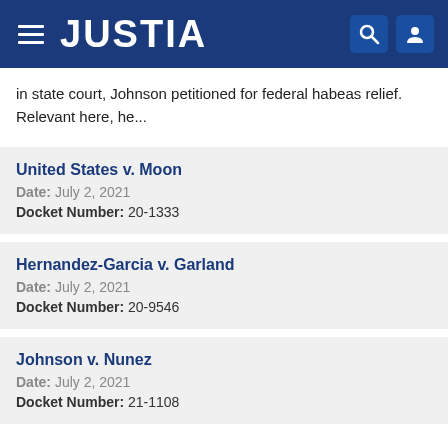JUSTIA
in state court, Johnson petitioned for federal habeas relief. Relevant here, he...
United States v. Moon
Date: July 2, 2021
Docket Number: 20-1333
Hernandez-Garcia v. Garland
Date: July 2, 2021
Docket Number: 20-9546
Johnson v. Nunez
Date: July 2, 2021
Docket Number: 21-1108